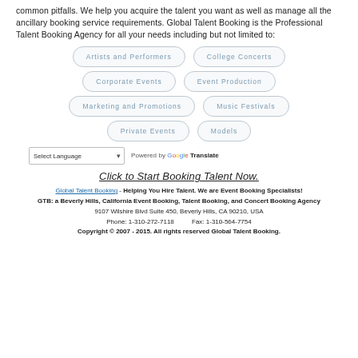common pitfalls. We help you acquire the talent you want as well as manage all the ancillary booking service requirements. Global Talent Booking is the Professional Talent Booking Agency for all your needs including but not limited to:
Artists and Performers
College Concerts
Corporate Events
Event Production
Marketing and Promotions
Music Festivals
Private Events
Models
[Figure (screenshot): Select Language dropdown with Powered by Google Translate label]
Click to Start Booking Talent Now.
Global Talent Booking - Helping You Hire Talent. We are Event Booking Specialists!
GTB: a Beverly Hills, California Event Booking, Talent Booking, and Concert Booking Agency
9107 Wilshire Blvd Suite 450, Beverly Hills, CA 90210, USA
Phone: 1-310-272-7118           Fax: 1-310-564-7754
Copyright © 2007 - 2015. All rights reserved Global Talent Booking.